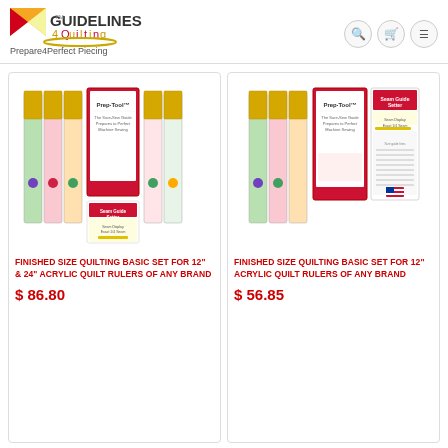[Figure (logo): Guidelines 4 Quilting logo with tagline Prepare4Perfect Piecing and navigation icons (search, cart, menu)]
[Figure (photo): Finished Size Quilting Basic Set for 12 and 24 inch acrylic quilt rulers of any brand - product package photo]
FINISHED SIZE QUILTING BASIC SET FOR 12" & 24" ACRYLIC QUILT RULERS OF ANY BRAND
$ 86.80
[Figure (photo): Finished Size Quilting Basic Set for 12 inch acrylic quilt rulers of any brand - product package photo]
FINISHED SIZE QUILTING BASIC SET FOR 12" ACRYLIC QUILT RULERS OF ANY BRAND
$ 56.85